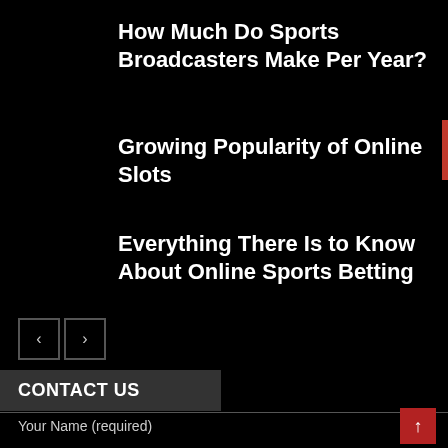How Much Do Sports Broadcasters Make Per Year?
Growing Popularity of Online Slots
Everything There Is to Know About Online Sports Betting
[Figure (other): Navigation previous and next arrow buttons]
CONTACT US
Your Name (required)